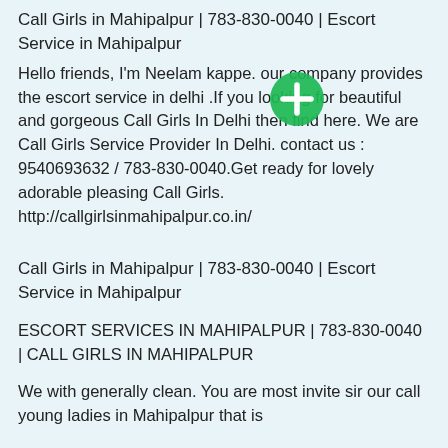Call Girls in Mahipalpur | 783-830-0040 | Escort Service in Mahipalpur
[Figure (other): Green circular plus/add button icon]
Hello friends, I'm Neelam kappe. our company provides the escort service in delhi .If you looking for beautiful and gorgeous Call Girls In Delhi then find here. We are Call Girls Service Provider In Delhi. contact us : 9540693632 / 783-830-0040.Get ready for lovely adorable pleasing Call Girls. http://callgirlsinmahipalpur.co.in/
Call Girls in Mahipalpur | 783-830-0040 | Escort Service in Mahipalpur
ESCORT SERVICES IN MAHIPALPUR | 783-830-0040 | CALL GIRLS IN MAHIPALPUR
We with generally clean. You are most invite sir our call young ladies in Mahipalpur that is